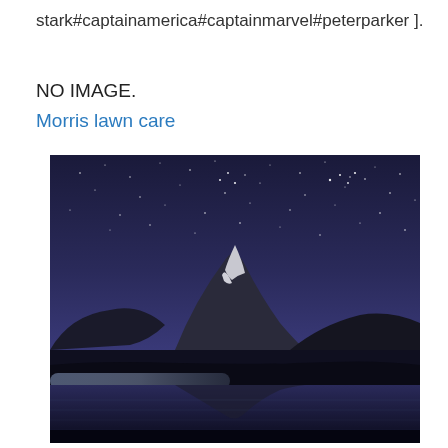stark#captainamerica#captainmarvel#peterparker ].
NO IMAGE.
Morris lawn care
[Figure (photo): Nighttime landscape photograph showing a snow-capped mountain (resembling Mount Fuji) reflected in a calm lake, under a dark blue starry sky.]